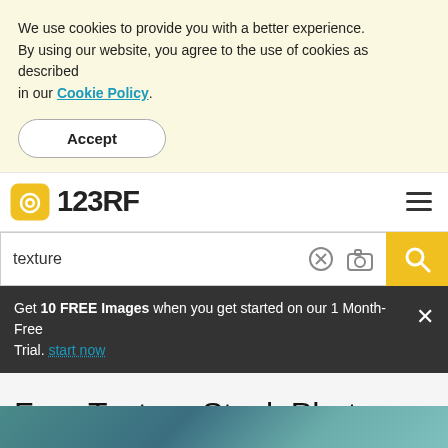We use cookies to provide you with a better experience. By using our website, you agree to the use of cookies as described in our Cookie Policy.
Accept
[Figure (logo): 123RF logo with yellow camera icon and bold text '123RF']
texture
Get 10 FREE Images when you get started on our 1 Month-Free Trial. start now
Free Texture Stock Photos And Images
[Figure (photo): Partial view of a texture stock photo at the bottom of the page]